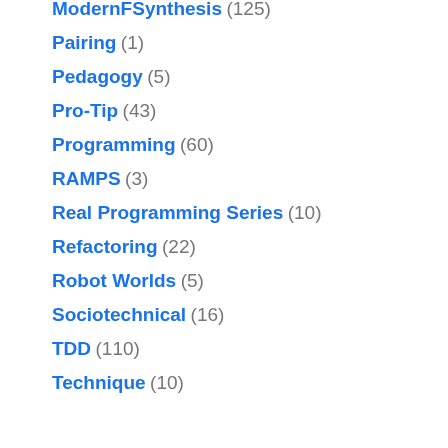ModernFSynthesis (125)
Pairing (1)
Pedagogy (5)
Pro-Tip (43)
Programming (60)
RAMPS (3)
Real Programming Series (10)
Refactoring (22)
Robot Worlds (5)
Sociotechnical (16)
TDD (110)
Technique (10)